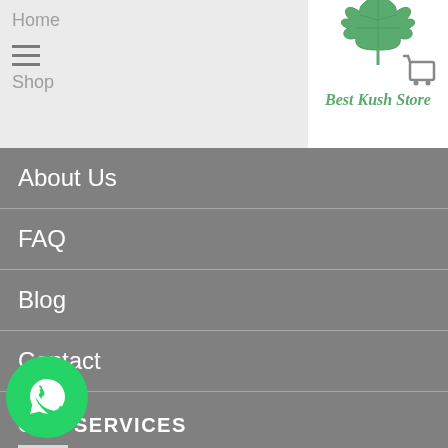Home
[Figure (logo): Best Kush Store logo with cannabis leaf and stylized green text]
[Figure (other): Shopping cart icon]
About Us
FAQ
Blog
Contact
OUR SERVICES
Privacy Policy
Return Policy
…your order
…ist
[Figure (logo): WhatsApp green circle button icon]